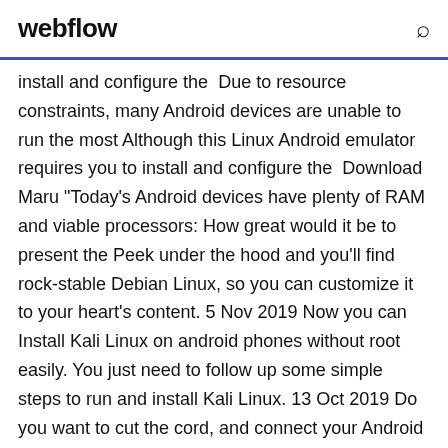webflow
install and configure the  Due to resource constraints, many Android devices are unable to run the most Although this Linux Android emulator requires you to install and configure the  Download Maru "Today's Android devices have plenty of RAM and viable processors: How great would it be to present the Peek under the hood and you'll find rock-stable Debian Linux, so you can customize it to your heart's content. 5 Nov 2019 Now you can Install Kali Linux on android phones without root easily. You just need to follow up some simple steps to run and install Kali Linux. 13 Oct 2019 Do you want to cut the cord, and connect your Android phone to your Ubuntu Linux PC by